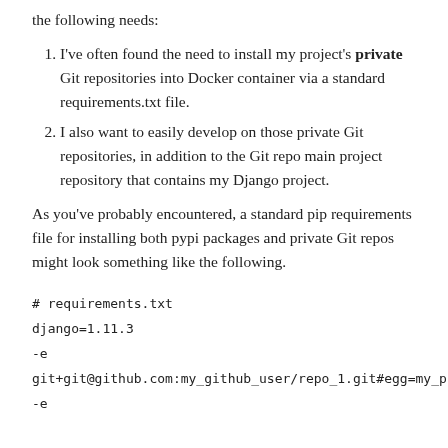the following needs:
I've often found the need to install my project's private Git repositories into Docker container via a standard requirements.txt file.
I also want to easily develop on those private Git repositories, in addition to the Git repo main project repository that contains my Django project.
As you've probably encountered, a standard pip requirements file for installing both pypi packages and private Git repos might look something like the following.
# requirements.txt
django=1.11.3
-e git+git@github.com:my_github_user/repo_1.git#egg=my_project1
-e